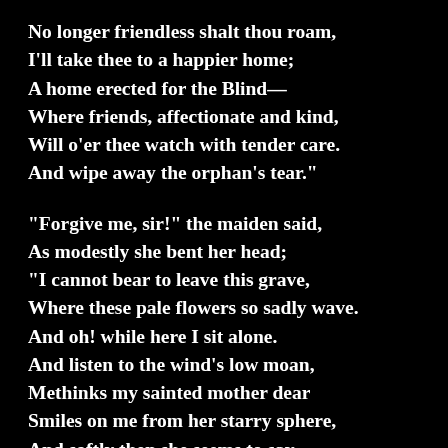No longer friendless shalt thou roam,
I'll take thee to a happier home;
A home erected for the Blind—
Where friends, affectionate and kind,
Will o'er thee watch with tender care.
And wipe away the orphan's tear."

"Forgive me, sir!" the maiden said,
As modestly she bent her head;
"I cannot bear to leave this grave,
Where these pale flowers so sadly wave.
And oh! while here I sit alone.
And listen to the wind's low moan,
Methinks my sainted mother dear
Smiles on me from her starry sphere,
And softly then she seems to say,